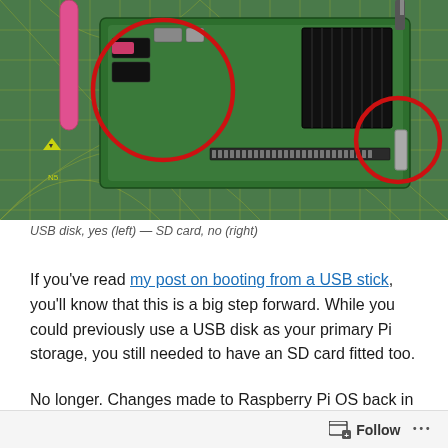[Figure (photo): Raspberry Pi board on a green cutting mat. A red circle on the left highlights the USB port with a pink USB cable plugged in. A red circle on the right highlights the SD card slot area. A heat sink is visible on the board.]
USB disk, yes (left) — SD card, no (right)
If you've read my post on booting from a USB stick, you'll know that this is a big step forward. While you could previously use a USB disk as your primary Pi storage, you still needed to have an SD card fitted too.
No longer. Changes made to Raspberry Pi OS back in August and to the bootloader code stored in the Pi's EEPRom mean
Follow